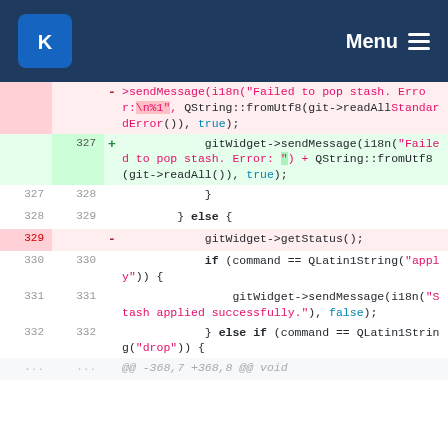KDE — Menu
Code diff showing changes to sendMessage and getStatus calls in a C++ file around lines 327-332
| old | new | sign | code |
| --- | --- | --- | --- |
|  |  | - | >sendMessage(i18n("Failed to pop stash. Error:\n%1", QString::fromUtf8(git->readAllStandardError())), true); |
| 327 |  | + | gitWidget->sendMessage(i18n("Failed to pop stash. Error: ") + QString::fromUtf8(git->readAll()), true); |
| 327 | 328 |  | } |
| 328 | 329 |  | } else { |
| 329 |  | - | gitWidget->getStatus(); |
| 330 | 330 |  | if (command == QLatin1String("apply")) { |
| 331 | 331 |  | gitWidget->sendMessage(i18n("Stash applied successfully."), false); |
| 332 | 332 |  | } else if (command == QLatin1String("drop")) { |
| ... | ... |  | @@ -368,7 +368,8 @@ void |